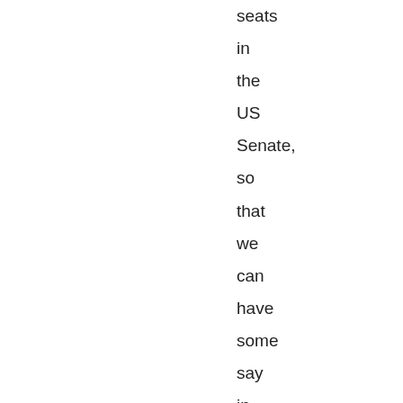seats in the US Senate, so that we can have some say in the foreign policy we are going to follow?

Britain's role as America's “permanent volunteer” has serious